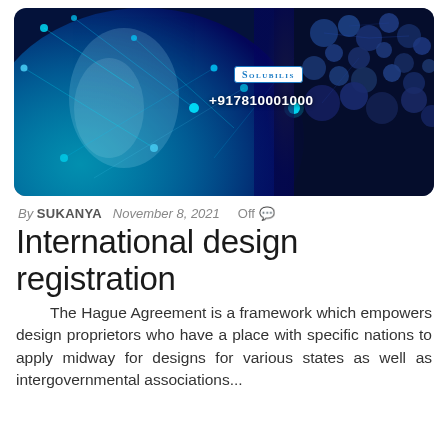[Figure (photo): A dark blue digital globe/network visualization with glowing nodes and connections, Solubilis logo badge and phone number +917810001000 overlaid on the image]
By SUKANYA   November 8, 2021   Off
International design registration
The Hague Agreement is a framework which empowers design proprietors who have a place with specific nations to apply midway for designs for various states as well as intergovernmental associations...